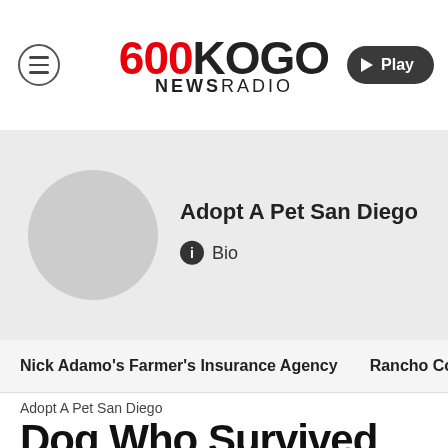[Figure (logo): 600 KOGO NewsRadio logo with red 600 and black KOGO text]
[Figure (illustration): Grey circular avatar placeholder for Adopt A Pet San Diego]
Adopt A Pet San Diego
Bio
Nick Adamo's Farmer's Insurance Agency
Rancho Coa
Adopt A Pet San Diego
Dog Who Survived Hurrican